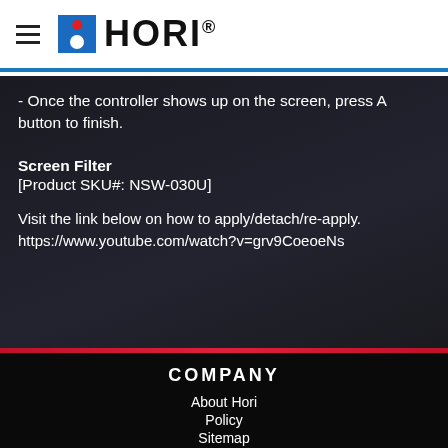HORI
- Once the controller shows up on the screen, press A button to finish.
Screen Filter
[Product SKU#: NSW-030U]
Visit the link below on how to apply/detach/re-apply.
https://www.youtube.com/watch?v=grv9CoeoeNs
COMPANY
About Hori
Policy
Sitemap